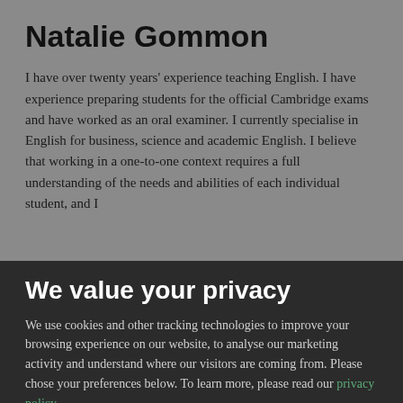Natalie Gommon
I have over twenty years' experience teaching English. I have experience preparing students for the official Cambridge exams and have worked as an oral examiner. I currently specialise in English for business, science and academic English. I believe that working in a one-to-one context requires a full understanding of the needs and abilities of each individual student, and I
We value your privacy
We use cookies and other tracking technologies to improve your browsing experience on our website, to analyse our marketing activity and understand where our visitors are coming from. Please chose your preferences below. To learn more, please read our privacy policy.
Marketing